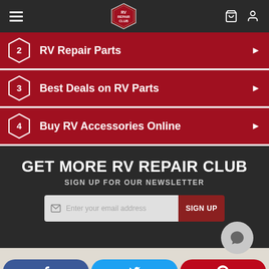RV Repair Club navigation bar with hamburger menu, logo, shopping bag and user icons
2 RV Repair Parts
3 Best Deals on RV Parts
4 Buy RV Accessories Online
GET MORE RV REPAIR CLUB
SIGN UP FOR OUR NEWSLETTER
Enter your email address SIGN UP